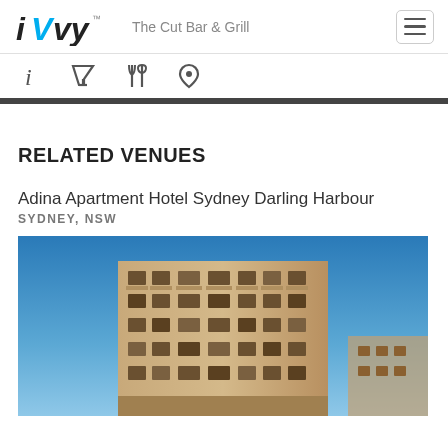iVvy — The Cut Bar & Grill
[Figure (screenshot): Navigation icon bar with info, cocktail glass, cutlery, and location pin icons]
RELATED VENUES
Adina Apartment Hotel Sydney Darling Harbour
SYDNEY, NSW
[Figure (photo): Exterior photo of Adina Apartment Hotel Sydney Darling Harbour — a multi-storey beige apartment building photographed from below against a clear blue sky]